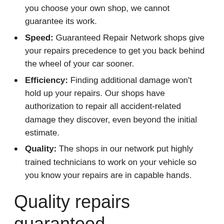you choose your own shop, we cannot guarantee its work.
Speed: Guaranteed Repair Network shops give your repairs precedence to get you back behind the wheel of your car sooner.
Efficiency: Finding additional damage won't hold up your repairs. Our shops have authorization to repair all accident-related damage they discover, even beyond the initial estimate.
Quality: The shops in our network put highly trained technicians to work on your vehicle so you know your repairs are in capable hands.
Quality repairs guaranteed
Dealing with faulty repairs on top of a car accident is no one's idea of a walk in the park. You want - no, need - your